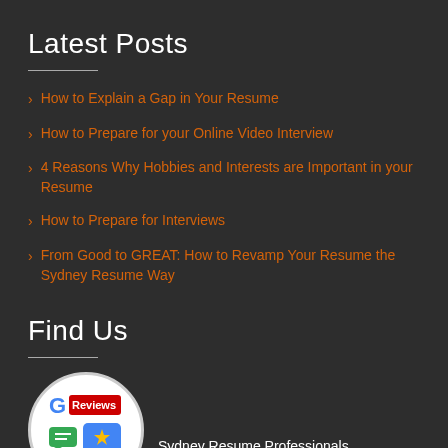Latest Posts
How to Explain a Gap in Your Resume
How to Prepare for your Online Video Interview
4 Reasons Why Hobbies and Interests are Important in your Resume
How to Prepare for Interviews
From Good to GREAT: How to Revamp Your Resume the Sydney Resume Way
Find Us
[Figure (logo): Google Reviews badge circle with G logo, Reviews label, speech bubbles and star icon]
Sydney Resume Professionals
Suite 3, Level 27